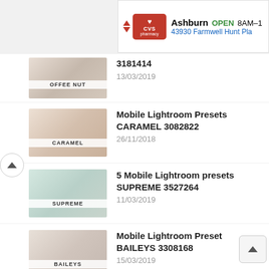[Figure (screenshot): CVS Pharmacy advertisement banner showing Ashburn location OPEN 8AM-1, 43930 Farmwell Hunt Pla]
3181414
13/03/2019
Mobile Lightroom Presets CARAMEL 3082822
26/11/2018
5 Mobile Lightroom presets SUPREME 3527264
11/03/2019
Mobile Lightroom Preset BAILEYS 3308168
15/03/2019
5 Mobile Lightroom presets MARRAKECH 3591380
06/04/2019